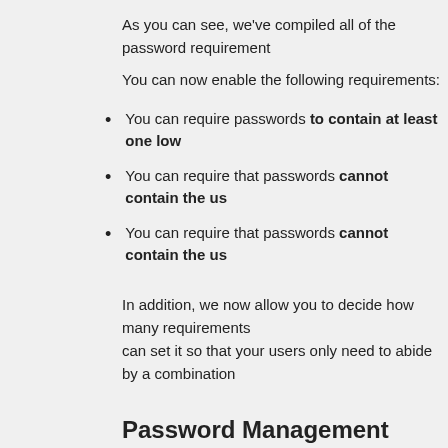As you can see, we've compiled all of the password requirement
You can now enable the following requirements:
You can require passwords to contain at least one low
You can require that passwords cannot contain the us
You can require that passwords cannot contain the us
In addition, we now allow you to decide how many requirements can set it so that your users only need to abide by a combination
Password Management
| PASSWORD MANAGEMENT | Minimum character le... | Maximum Password Ag... |
| --- | --- | --- |